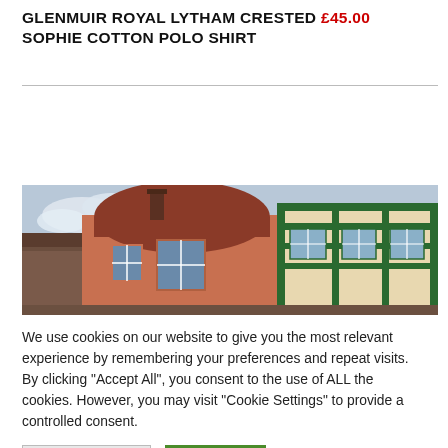GLENMUIR ROYAL LYTHAM CRESTED £45.00 SOPHIE COTTON POLO SHIRT
[Figure (photo): Exterior photo of a red-brick Victorian building with green timber framing, multiple windows, and a dark roof, against a cloudy sky.]
We use cookies on our website to give you the most relevant experience by remembering your preferences and repeat visits. By clicking "Accept All", you consent to the use of ALL the cookies. However, you may visit "Cookie Settings" to provide a controlled consent.